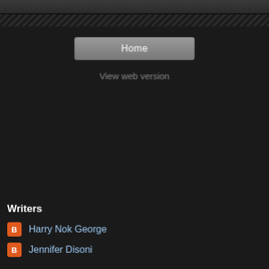Home
View web version
Writers
Harry Nok George
Jennifer Disoni